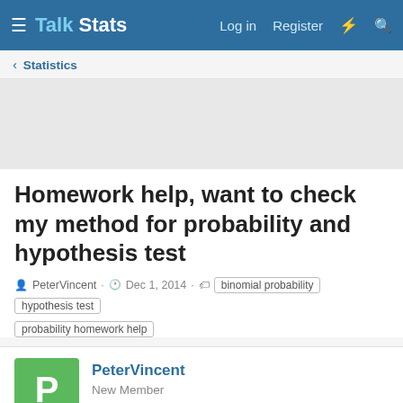Talk Stats — Log in  Register
‹ Statistics
Homework help, want to check my method for probability and hypothesis test
PeterVincent · Dec 1, 2014 · binomial probability  hypothesis test  probability homework help
PeterVincent
New Member
Dec 1, 2014  #1
I would be most obliged if someone would look at my solution and advise if my method and answers are correct.